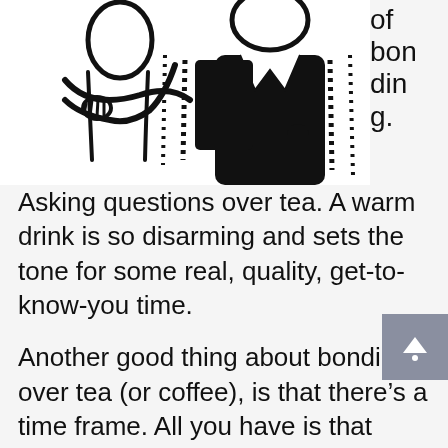[Figure (illustration): Two figures illustrated in black and white line art, showing people in close proximity suggesting bonding. The image is cropped at the top of the page.]
of bonding. Asking questions over tea. A warm drink is so disarming and sets the tone for some real, quality, get-to-know-you time.
Another good thing about bonding over tea (or coffee), is that there's a time frame. All you have is that cuppa amount of time to find out a bit more about this stranger your brain has tricked you into thinking you know.
Now maybe you do this with the rest of your team. You do this with neighbours, and family. Slowly but surely, I guarantee you you will be